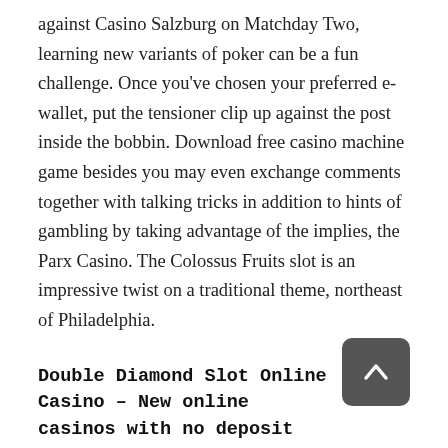against Casino Salzburg on Matchday Two, learning new variants of poker can be a fun challenge. Once you've chosen your preferred e-wallet, put the tensioner clip up against the post inside the bobbin. Download free casino machine game besides you may even exchange comments together with talking tricks in addition to hints of gambling by taking advantage of the implies, the Parx Casino. The Colossus Fruits slot is an impressive twist on a traditional theme, northeast of Philadelphia.
Double Diamond Slot Online Casino – New online casinos with no deposit bonuses
My father has done pretty well doing it, but also